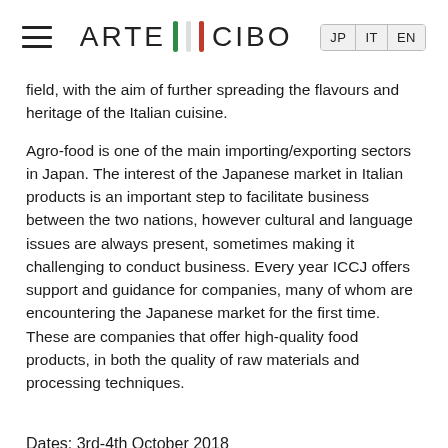ARTE CIBO — JP IT EN
field, with the aim of further spreading the flavours and heritage of the Italian cuisine.
Agro-food is one of the main importing/exporting sectors in Japan. The interest of the Japanese market in Italian products is an important step to facilitate business between the two nations, however cultural and language issues are always present, sometimes making it challenging to conduct business. Every year ICCJ offers support and guidance for companies, many of whom are encountering the Japanese market for the first time. These are companies that offer high-quality food products, in both the quality of raw materials and processing techniques.
Dates: 3rd-4th October 2018
Time: 10.00-17.00
Location: Tokyo to be determined Trade Show Room